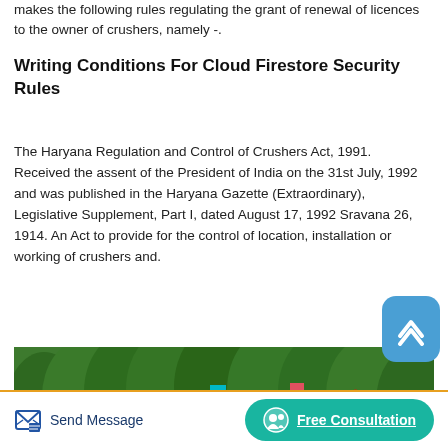makes the following rules regulating the grant of renewal of licences to the owner of crushers, namely -.
Writing Conditions For Cloud Firestore Security Rules
The Haryana Regulation and Control of Crushers Act, 1991. Received the assent of the President of India on the 31st July, 1992 and was published in the Haryana Gazette (Extraordinary), Legislative Supplement, Part I, dated August 17, 1992 Sravana 26, 1914. An Act to provide for the control of location, installation or working of crushers and.
[Figure (photo): Outdoor photo showing construction/industrial equipment with colored flags (cyan, red) against a dense green forest background]
Send Message
Free Consultation